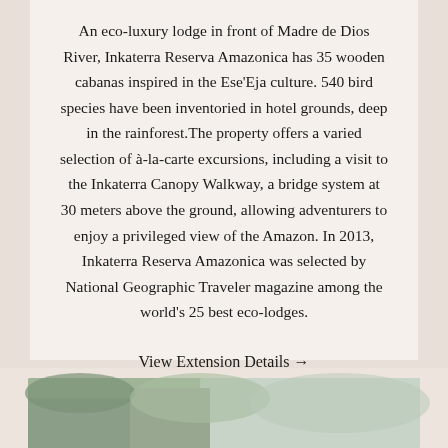An eco-luxury lodge in front of Madre de Dios River, Inkaterra Reserva Amazonica has 35 wooden cabanas inspired in the Ese'Eja culture. 540 bird species have been inventoried in hotel grounds, deep in the rainforest.The property offers a varied selection of à-la-carte excursions, including a visit to the Inkaterra Canopy Walkway, a bridge system at 30 meters above the ground, allowing adventurers to enjoy a privileged view of the Amazon. In 2013, Inkaterra Reserva Amazonica was selected by National Geographic Traveler magazine among the world's 25 best eco-lodges.
View Extension Details →
[Figure (photo): Partial view of a natural landscape, likely mountains or forest, visible at the bottom of the page]